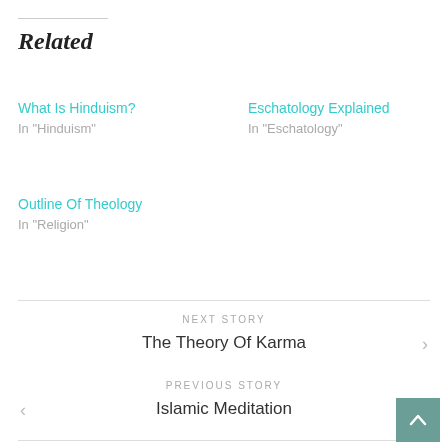Related
What Is Hinduism?
In "Hinduism"
Eschatology Explained
In "Eschatology"
Outline Of Theology
In "Religion"
NEXT STORY
The Theory Of Karma
PREVIOUS STORY
Islamic Meditation